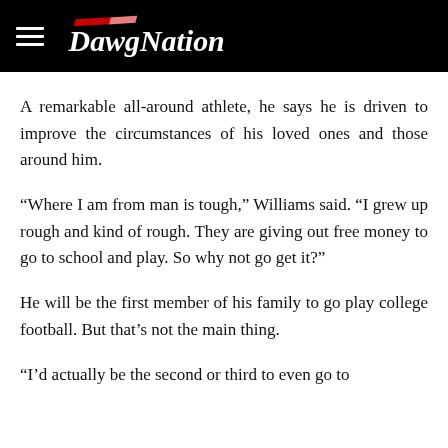DawgNation
A remarkable all-around athlete, he says he is driven to improve the circumstances of his loved ones and those around him.
“Where I am from man is tough,” Williams said. “I grew up rough and kind of rough. They are giving out free money to go to school and play. So why not go get it?”
He will be the first member of his family to go play college football. But that’s not the main thing.
“I’d actually be the second or third to even go to